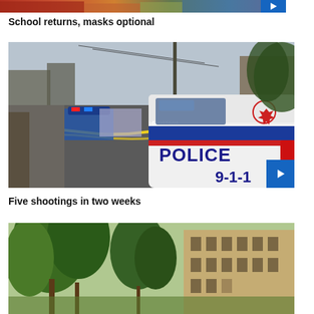[Figure (photo): Top partial image strip showing people, partially cropped at top of page]
School returns, masks optional
[Figure (photo): Ottawa police car with POLICE 9-1-1 and Canadian maple leaf logo, yellow crime scene tape visible, street scene]
Five shootings in two weeks
[Figure (photo): Bottom partial image showing trees and a building, partially cropped at bottom of page]